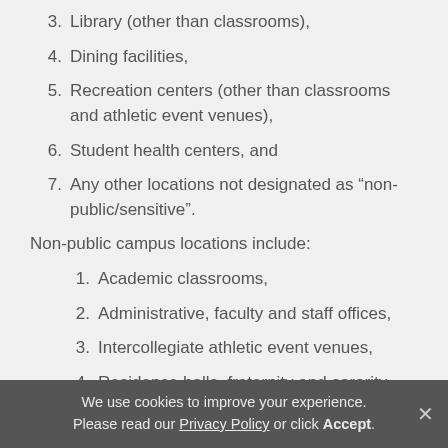3. Library (other than classrooms),
4. Dining facilities,
5. Recreation centers (other than classrooms and athletic event venues),
6. Student health centers, and
7. Any other locations not designated as “non-public/sensitive”.
Non-public campus locations include:
1. Academic classrooms,
2. Administrative, faculty and staff offices,
3. Intercollegiate athletic event venues,
4. Residence halls, fraternity and sorority houses,
We use cookies to improve your experience. Please read our Privacy Policy or click Accept.